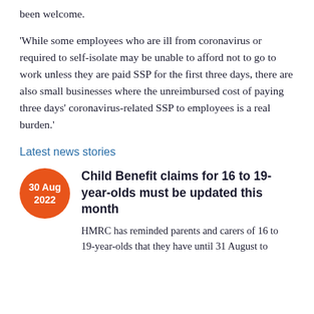been welcome.
'While some employees who are ill from coronavirus or required to self-isolate may be unable to afford not to go to work unless they are paid SSP for the first three days, there are also small businesses where the unreimbursed cost of paying three days' coronavirus-related SSP to employees is a real burden.'
Latest news stories
Child Benefit claims for 16 to 19-year-olds must be updated this month
HMRC has reminded parents and carers of 16 to 19-year-olds that they have until 31 August to